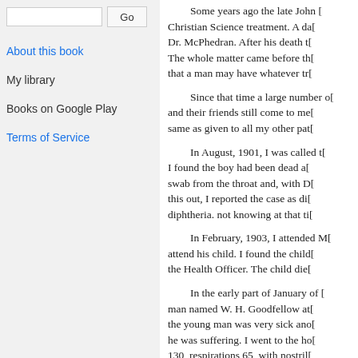About this book
My library
Books on Google Play
Terms of Service
Some years ago the late John [  ] Christian Science treatment. A da[ ] Dr. McPhedran. After his death t[ ] The whole matter came before th[ ] that a man may have whatever tr[ ]
Since that time a large number o[ ] and their friends still come to me[ ] same as given to all my other pat[ ]
In August, 1901, I was called t[ ] I found the boy had been dead a[ ] swab from the throat and, with D[ ] this out, I reported the case as di[ ] diphtheria. not knowing at that ti[ ]
In February, 1903, I attended M[ ] attend his child. I found the child[ ] the Health Officer. The child die[ ]
In the early part of January of [ ] man named W. H. Goodfellow at[ ] the young man was very sick ano[ ] he was suffering. I went to the ho[ ] 130, respirations 65, with nostril[ ] perspiration and unconscious, du[ ]